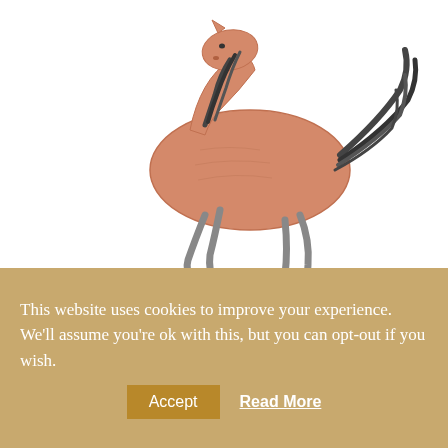[Figure (illustration): Child's pencil and colored crayon drawing of a horse in mid-trot/prance, with a reddish-brown body and dark mane and tail, on a white background.]
Foto-Kunst-Karte A. W. Kögel
Sommerabend am Brunsberg
Dearest Linda and Patrick, My Darcy
Thank you for being such AMAZING hosts, we've truly had the most wonderful time. We're so happy that we took you up on
PK 95
This website uses cookies to improve your experience. We'll assume you're ok with this, but you can opt-out if you wish.
Accept
Read More